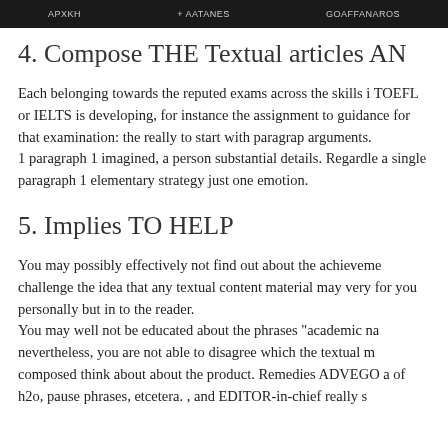APXKH    + AATANES    GOAFFANAROS
4. Compose THE Textual articles AN
Each belonging towards the reputed exams across the skills i TOEFL or IELTS is developing, for instance the assignment to guidance for that examination: the really to start with paragrap arguments.
1 paragraph 1 imagined, a person substantial details. Regardle a single paragraph 1 elementary strategy just one emotion.
5. Implies TO HELP
You may possibly effectively not find out about the achieveme challenge the idea that any textual content material may very for you personally but in to the reader.
You may well not be educated about the phrases "academic na nevertheless, you are not able to disagree which the textual m composed think about about the product. Remedies ADVEGO a of h2o, pause phrases, etcetera. , and EDITOR-in-chief really s